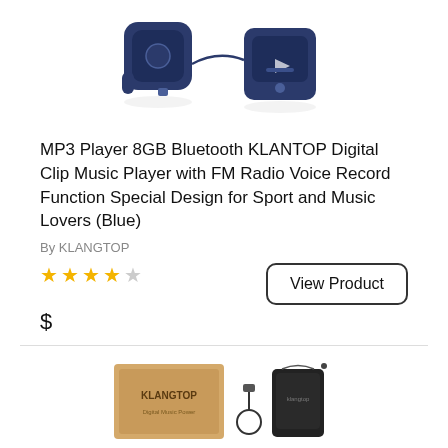[Figure (photo): Blue KLANTOP MP3 player clip music player product photo, top portion showing the device from multiple angles on white background]
MP3 Player 8GB Bluetooth KLANTOP Digital Clip Music Player with FM Radio Voice Record Function Special Design for Sport and Music Lovers (Blue)
By KLANGTOP
★★★★☆
$
[Figure (photo): KLANGTOP product box with accessories including USB cable and carrying pouch, and below that a user manual, earphones, USB cable and the MP3 device shown on white background]